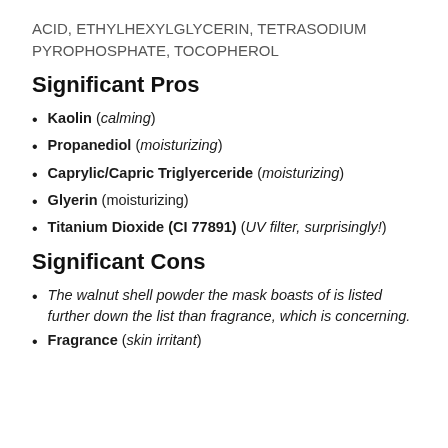ACID, ETHYLHEXYLGLYCERIN, TETRASODIUM PYROPHOSPHATE, TOCOPHEROL
Significant Pros
Kaolin (calming)
Propanediol (moisturizing)
Caprylic/Capric Triglyerceride (moisturizing)
Glyerin (moisturizing)
Titanium Dioxide (CI 77891) (UV filter, surprisingly!)
Significant Cons
The walnut shell powder the mask boasts of is listed further down the list than fragrance, which is concerning.
Fragrance (skin irritant)